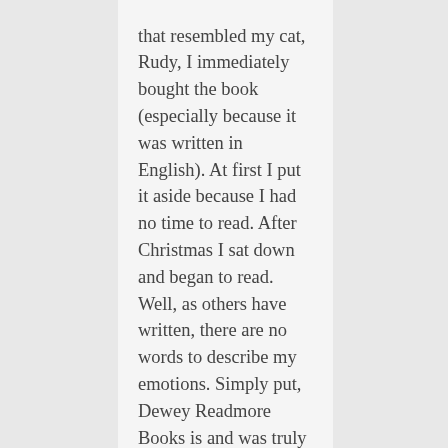that resembled my cat, Rudy, I immediately bought the book (especially because it was written in English). At first I put it aside because I had no time to read. After Christmas I sat down and began to read. Well, as others have written, there are no words to describe my emotions. Simply put, Dewey Readmore Books is and was truly a remarkable cat. Vicky, you are certainly lucky to have had a cat like Dewey. Your love, appreciation, dedication and faith in and for Dewey is what life is about. Although he isn't